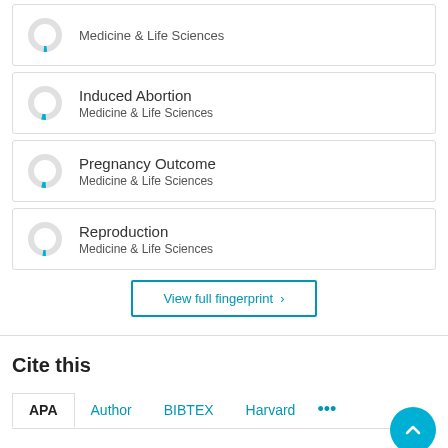Medicine & Life Sciences
Induced Abortion
Medicine & Life Sciences
Pregnancy Outcome
Medicine & Life Sciences
Reproduction
Medicine & Life Sciences
View full fingerprint >
Cite this
APA  Author  BIBTEX  Harvard  ...